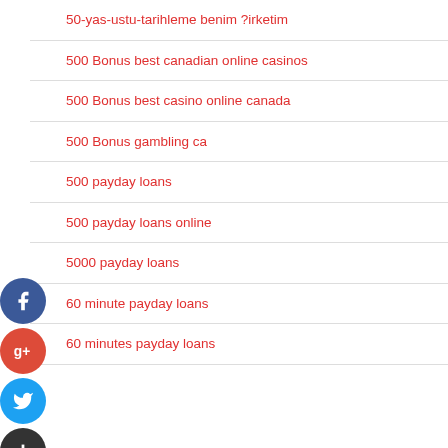50-yas-ustu-tarihleme benim ?irketim
500 Bonus best canadian online casinos
500 Bonus best casino online canada
500 Bonus gambling ca
500 payday loans
500 payday loans online
5000 payday loans
60 minute payday loans
60 minutes payday loans